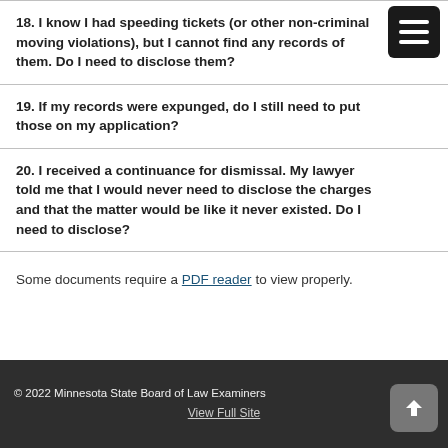18. I know I had speeding tickets (or other non-criminal moving violations), but I cannot find any records of them. Do I need to disclose them?
19. If my records were expunged, do I still need to put those on my application?
20. I received a continuance for dismissal. My lawyer told me that I would never need to disclose the charges and that the matter would be like it never existed. Do I need to disclose?
Some documents require a PDF reader to view properly.
© 2022 Minnesota State Board of Law Examiners
View Full Site